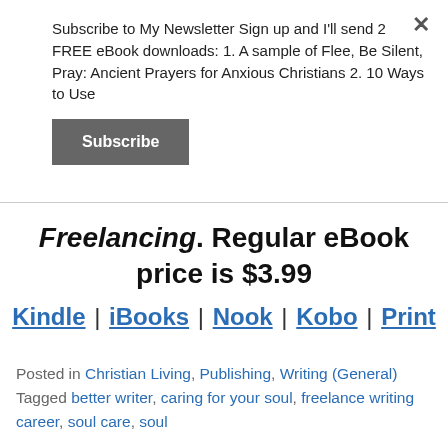Subscribe to My Newsletter Sign up and I'll send 2 FREE eBook downloads: 1. A sample of Flee, Be Silent, Pray: Ancient Prayers for Anxious Christians 2. 10 Ways to Use
Subscribe
Freelancing. Regular eBook price is $3.99
Kindle | iBooks | Nook | Kobo | Print
Posted in Christian Living, Publishing, Writing (General)   Tagged better writer, caring for your soul, freelance writing career, soul care, soul